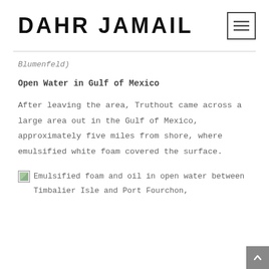DAHR JAMAIL
Blumenfeld)
Open Water in Gulf of Mexico
After leaving the area, Truthout came across a large area out in the Gulf of Mexico, approximately five miles from shore, where emulsified white foam covered the surface.
Emulsified foam and oil in open water between Timbalier Isle and Port Fourchon,